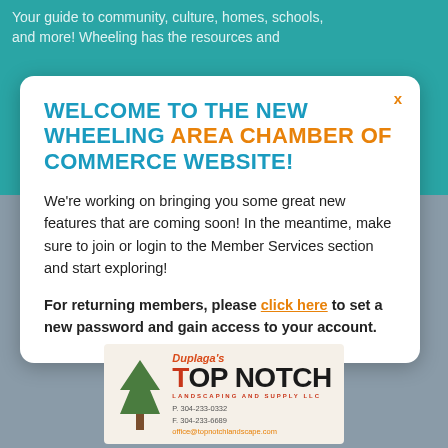Your guide to community, culture, homes, schools, and more! Wheeling has the resources and
WELCOME TO THE NEW WHEELING AREA CHAMBER OF COMMERCE WEBSITE!
We're working on bringing you some great new features that are coming soon! In the meantime, make sure to join or login to the Member Services section and start exploring!
For returning members, please click here to set a new password and gain access to your account.
[Figure (logo): Duplaga's Top Notch Landscaping and Supply LLC advertisement logo with tree icon, phone/fax numbers and email address]